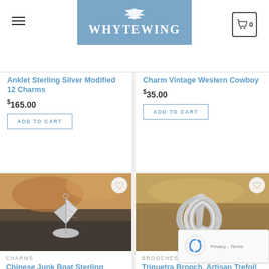[Figure (logo): WhyteWing logo with feather, on blue/steel background]
Anklet Sterling Silver Modified 12 Charms
$165.00
ADD TO CART
Charm Vintage Western Cowboy
$35.00
ADD TO CART
[Figure (photo): Silver Chinese Junk Boat charm on rocky surface]
CHARMS
Chinese Junk Boat Sterling Silver Trade Vessel
$45.00
ADD TO CART
[Figure (photo): Triquetra Celtic Knot brooch in sterling silver on stone surface]
BROOCHES
Triquetra Brooch, Artisan Trefoil Celtic Knot in Sterling Silver
$175.00
ADD TO CART
[Figure (other): reCAPTCHA privacy widget overlay]